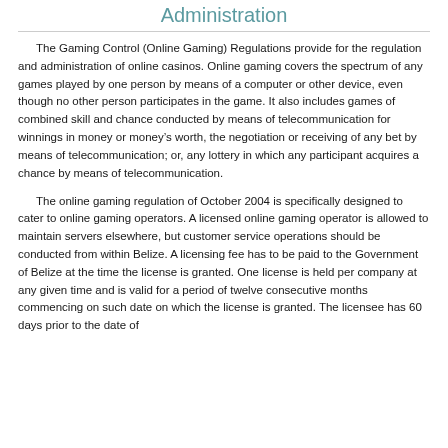Administration
The Gaming Control (Online Gaming) Regulations provide for the regulation and administration of online casinos. Online gaming covers the spectrum of any games played by one person by means of a computer or other device, even though no other person participates in the game. It also includes games of combined skill and chance conducted by means of telecommunication for winnings in money or money’s worth, the negotiation or receiving of any bet by means of telecommunication; or, any lottery in which any participant acquires a chance by means of telecommunication.
The online gaming regulation of October 2004 is specifically designed to cater to online gaming operators. A licensed online gaming operator is allowed to maintain servers elsewhere, but customer service operations should be conducted from within Belize. A licensing fee has to be paid to the Government of Belize at the time the license is granted. One license is held per company at any given time and is valid for a period of twelve consecutive months commencing on such date on which the license is granted. The licensee has 60 days prior to the date of